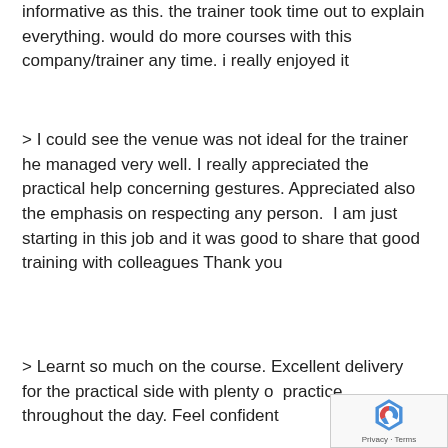informative as this. the trainer took time out to explain everything. would do more courses with this company/trainer any time. i really enjoyed it
> I could see the venue was not ideal for the trainer he managed very well. I really appreciated the practical help concerning gestures. Appreciated also the emphasis on respecting any person.  I am just starting in this job and it was good to share that good training with colleagues Thank you
> Learnt so much on the course. Excellent delivery for the practical side with plenty of practice throughout the day. Feel confident